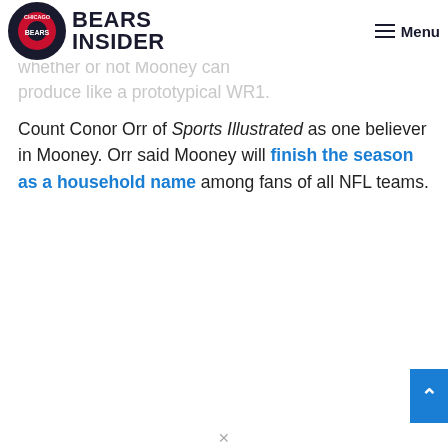Bears Insider — Menu
or he would have looked in another question everyone wanted whether or not Mooney can produce like a prototypical WR1.
Count Conor Orr of Sports Illustrated as one believer in Mooney. Orr said Mooney will finish the season as a household name among fans of all NFL teams.